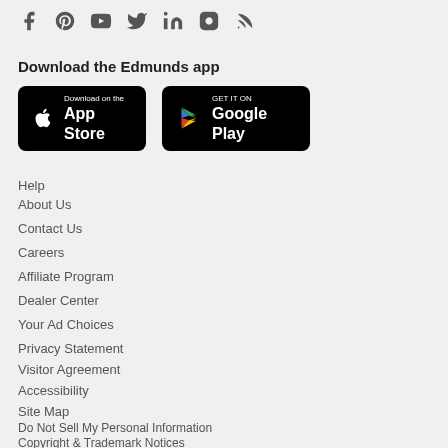[Figure (infographic): Social media icons: Facebook, Pinterest, YouTube, Twitter, LinkedIn, Instagram, RSS feed]
Download the Edmunds app
[Figure (infographic): App Store and Google Play download buttons]
Help
About Us
Contact Us
Careers
Affiliate Program
Dealer Center
Your Ad Choices
Privacy Statement
Visitor Agreement
Accessibility
Site Map
Do Not Sell My Personal Information
Copyright & Trademark Notices
© Edmunds.com, Inc.